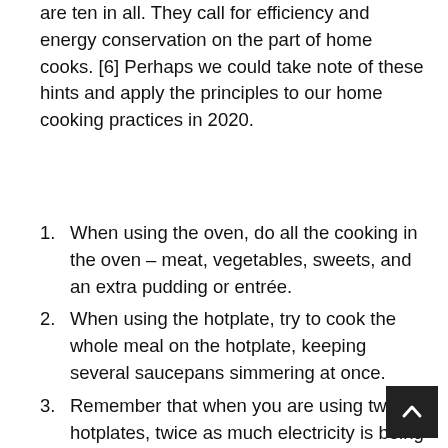are ten in all. They call for efficiency and energy conservation on the part of home cooks. [6] Perhaps we could take note of these hints and apply the principles to our home cooking practices in 2020.
When using the oven, do all the cooking in the oven – meat, vegetables, sweets, and an extra pudding or entrée.
When using the hotplate, try to cook the whole meal on the hotplate, keeping several saucepans simmering at once.
Remember that when you are using two hotplates, twice as much electricity is being used.
Use your hot water system to obtain hot water for cooking purposes – or an electric jug or electric kettle. It you have not any of these available, a large saucepan on the quick-boiling plate, with the switch on High.